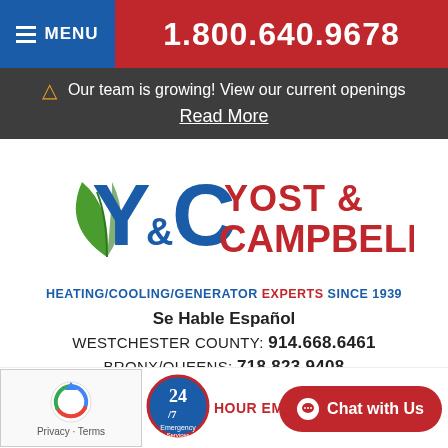MENU | 1.800.640.9678
⚠ Our team is growing! View our current openings Read More
[Figure (logo): Yost & Campbell logo with green leaf and blue/red lettering]
HEATING/COOLING/GENERATOR EXPERTS SINCE 1939
Se Hable Español
WESTCHESTER COUNTY: 914.668.6461
BRONX/QUEENS: 718.823.9408
[Figure (logo): reCAPTCHA logo with Privacy and Terms links]
[Figure (logo): 24/7 Emergency Services badge]
HOUR EMERGENCY
Chat with Us